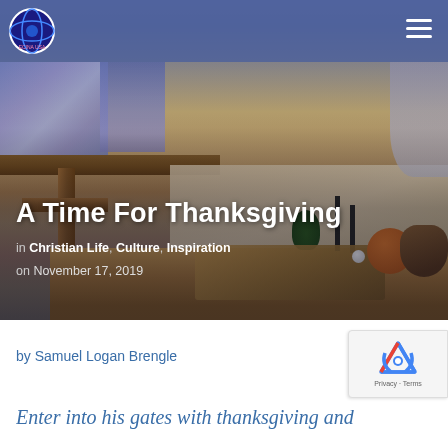[Figure (photo): Church interior photo showing a wooden cross, stained glass windows, altar with candles, pumpkins and fall harvest decorations, and cloth draped over a table. Blue-tinted header navigation bar overlays the top portion of the image.]
A Time For Thanksgiving
in Christian Life, Culture, Inspiration
on November 17, 2019
by Samuel Logan Brengle
Enter into his gates with thanksgiving and...